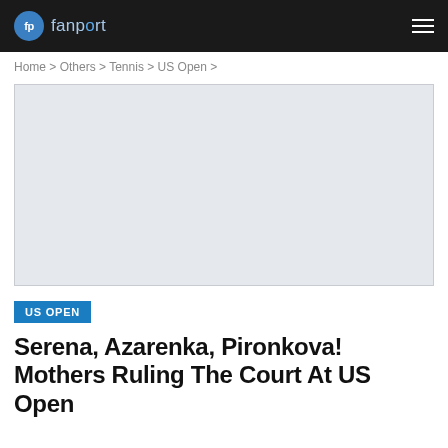fanport
Home > Others > Tennis > US Open >
[Figure (photo): Gray placeholder image for article photo]
US OPEN
Serena, Azarenka, Pironkova! Mothers Ruling The Court At US Open